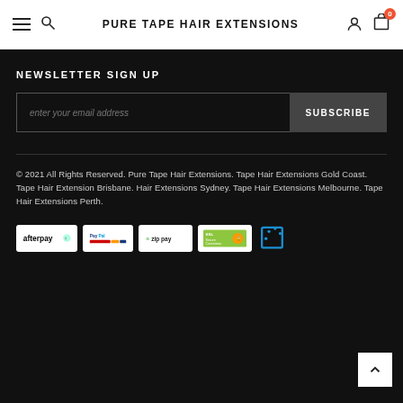PURE TAPE HAIR EXTENSIONS
NEWSLETTER SIGN UP
enter your email address
SUBSCRIBE
© 2021 All Rights Reserved. Pure Tape Hair Extensions. Tape Hair Extensions Gold Coast. Tape Hair Extension Brisbane. Hair Extensions Sydney. Tape Hair Extensions Melbourne. Tape Hair Extensions Perth.
[Figure (logo): Payment method logos: afterpay, PayPal, zip pay, SSL Secure Connection, and a cart/analytics icon]